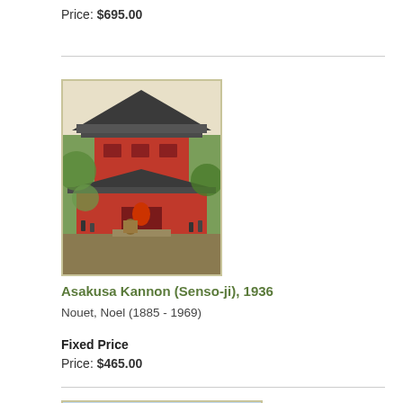Price: $695.00
[Figure (illustration): Japanese woodblock print of Asakusa Kannon (Senso-ji) temple with red pagoda, trees, and people]
Asakusa Kannon (Senso-ji), 1936
Nouet, Noel (1885 - 1969)
Fixed Price
Price: $465.00
[Figure (illustration): Japanese woodblock print of Mount Fuji with pink peak, blue sky, and lake reflection]